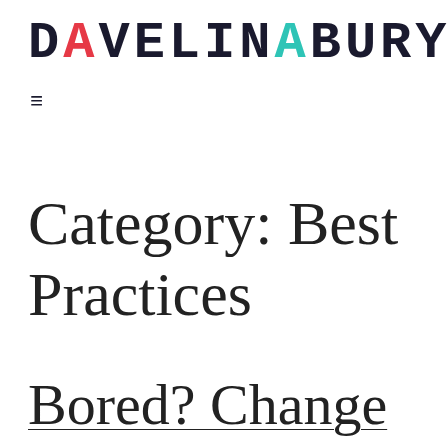DAVE LINABURY
≡
Category: Best Practices
Bored? Change your